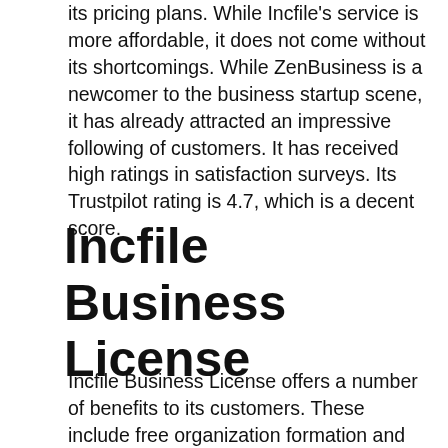its pricing plans. While Incfile's service is more affordable, it does not come without its shortcomings. While ZenBusiness is a newcomer to the business startup scene, it has already attracted an impressive following of customers. It has received high ratings in satisfaction surveys. Its Trustpilot rating is 4.7, which is a decent score.
Incfile Business License
Incfile Business License offers a number of benefits to its customers. These include free organization formation and no state filing fees. While other services charge lower fees, Incfile provides an end-to-end service.